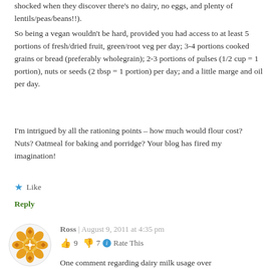shocked when they discover there's no dairy, no eggs, and plenty of lentils/peas/beans!!).
So being a vegan wouldn't be hard, provided you had access to at least 5 portions of fresh/dried fruit, green/root veg per day; 3-4 portions cooked grains or bread (preferably wholegrain); 2-3 portions of pulses (1/2 cup = 1 portion), nuts or seeds (2 tbsp = 1 portion) per day; and a little marge and oil per day.
I'm intrigued by all the rationing points – how much would flour cost? Nuts? Oatmeal for baking and porridge? Your blog has fired my imagination!
★ Like
Reply
Ross | August 9, 2011 at 4:35 pm
👍 9 👎 7 ℹ Rate This
One comment regarding dairy milk usage over